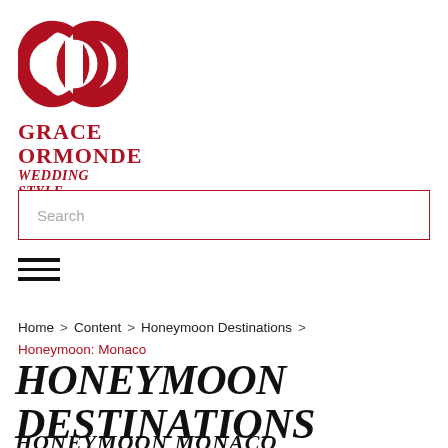[Figure (logo): Grace Ormonde Wedding Style logo — two interlinked red circles above the brand name in red serif text]
Search
[Figure (other): Hamburger menu icon — three horizontal black lines]
Home > Content > Honeymoon Destinations > Honeymoon: Monaco
HONEYMOON DESTINATIONS
HONEYMOON MONACO